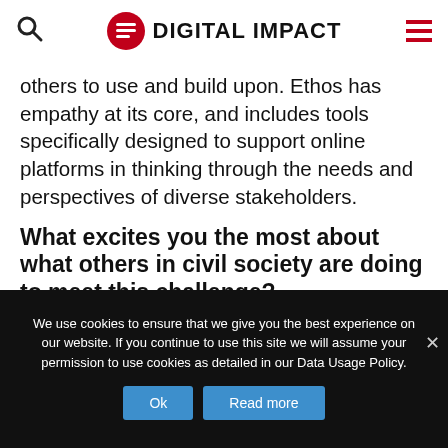DIGITAL IMPACT
others to use and build upon. Ethos has empathy at its core, and includes tools specifically designed to support online platforms in thinking through the needs and perspectives of diverse stakeholders.
What excites you the most about what others in civil society are doing to meet this challenge?
We use cookies to ensure that we give you the best experience on our website. If you continue to use this site we will assume your permission to use cookies as detailed in our Data Usage Policy.